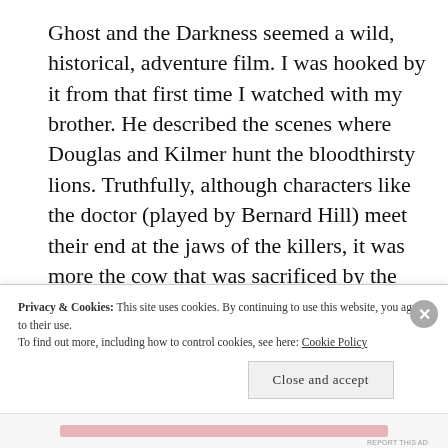Ghost and the Darkness seemed a wild, historical, adventure film. I was hooked by it from that first time I watched with my brother. He described the scenes where Douglas and Kilmer hunt the bloodthirsty lions. Truthfully, although characters like the doctor (played by Bernard Hill) meet their end at the jaws of the killers, it was more the cow that was sacrificed by the
Privacy & Cookies: This site uses cookies. By continuing to use this website, you agree to their use.
To find out more, including how to control cookies, see here: Cookie Policy